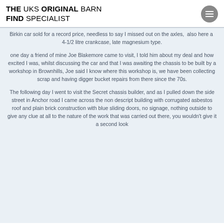THE UKS ORIGINAL BARN FIND SPECIALIST
Birkin car sold for a record price, needless to say I missed out on the axles,  also here a  4-1/2 litre crankcase, late magnesium type.
one day a friend of mine Joe Blakemore came to visit, I told him about my deal and how excited I was, whilst discussing the car and that I was awaiting the chassis to be built by a workshop in Brownhills, Joe said I know where this workshop is, we have been collecting scrap and having digger bucket repairs from there since the 70s.
The following day I went to visit the Secret chassis builder, and as I pulled down the side street in Anchor road I came across the non descript building with corrugated asbestos roof and plain brick construction with blue sliding doors, no signage, nothing outside to give any clue at all to the nature of the work that was carried out there, you wouldn't give it a second look